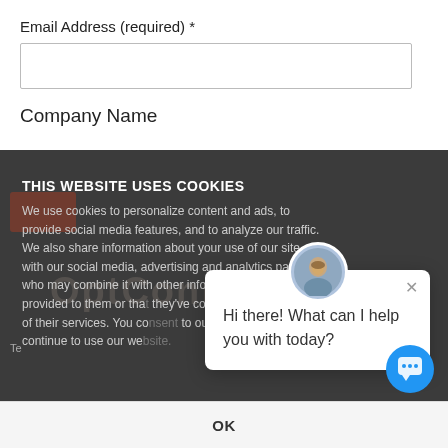Email Address (required) *
Company Name
THIS WEBSITE USES COOKIES
We use cookies to personalize content and ads, to provide social media features, and to analyze our traffic. We also share information about your use of our site with our social media, advertising and analytics partners who may combine it with other information that you've provided to them or that they've collected from your use of their services. You consent to our cookies if you continue to use our we
[Figure (screenshot): Chat popup with avatar photo of a man, close button X, and text 'Hi there! What can I help you with today?']
OK
Copyright 2022 OptConnect.com All Rights Reserved.